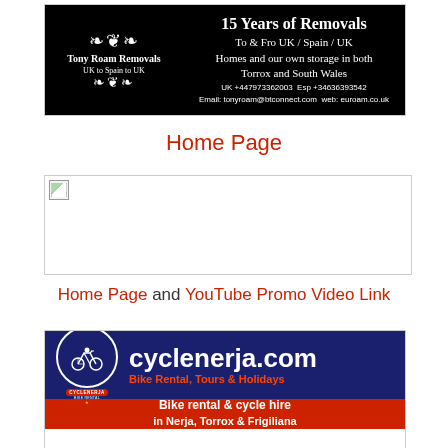[Figure (illustration): Tony Roam Removals advertisement banner. Black background with white ornamental design on left, company name 'Tony Roam Removals UK to Spain to UK', and text on right: '15 Years of Removals, To & Fro UK / Spain / UK, Homes and our own storage in both Torrox and South Wales, UK +447973362003 Esp +34636393542, Email: tonyroam@btconnect.com web: euroam.co.uk']
Home Page
[Figure (screenshot): Empty image placeholder box with broken image icon in top-left corner]
Home Page and  YouTube Promo Video Link
[Figure (illustration): Cyclenerja advertisement. Dark blue background with cyclist logo on left, large white text 'cyclenerja.com', orange/red tagline 'Bike Rental, Tours & Holidays', red section below with white text 'Bike rental & cycle hire in Nerja, Torrox & Frigiliana']